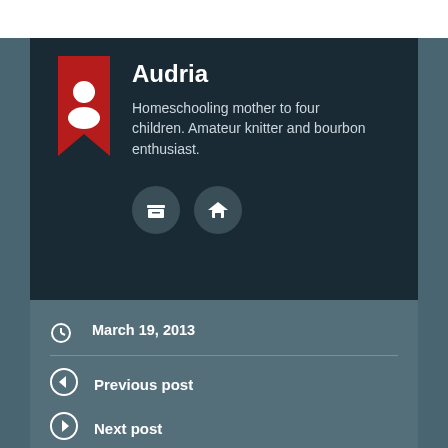Audria
Homeschooling mother to four children. Amateur knitter and bourbon enthusiast.
March 19, 2013
Faith, Family Life
brother, christian prayer, faith, military, PTSD, soldier, suicide, veterans
Previous post
Next post